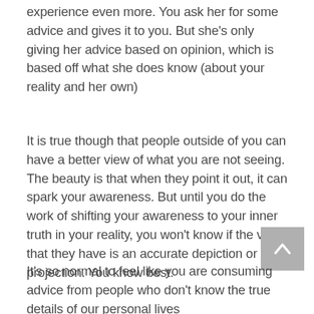experience even more. You ask her for some advice and gives it to you. But she's only giving her advice based on opinion, which is  based off what she does know (about your reality and her own)
It is true though that people outside of you can have a better view of what you are not seeing. The beauty is that when they point it out, it can spark your awareness. But until you do the work of shifting your awareness to your inner truth in your reality, you won't know if the view that they have is an accurate depiction or a projection. You know best.
It's so normal to feel like you are consuming advice from people who don't know the true details of our personal lives